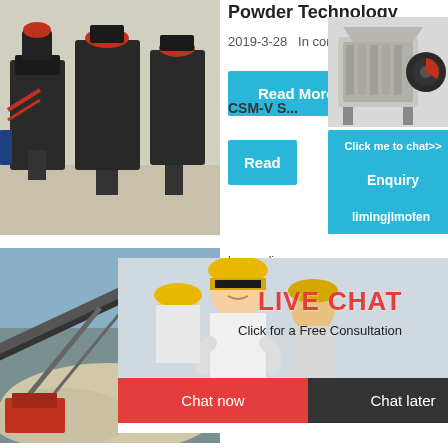Powder Technology
2019-3-28   In conjunction...
[Figure (photo): Industrial powder processing/milling equipment in a factory setting]
[Figure (photo): Mining conveyor belt and aggregate processing site]
[Figure (photo): Live chat popup with workers in yellow hard hats]
[Figure (photo): Industrial crusher/jaw crusher machine]
hour online
CSM-V S
Click me to chat>>
Enquiry
limingjlmofen
LIVE CHAT
Click for a Free Consultation
Chat now
Chat later
Read More
Read